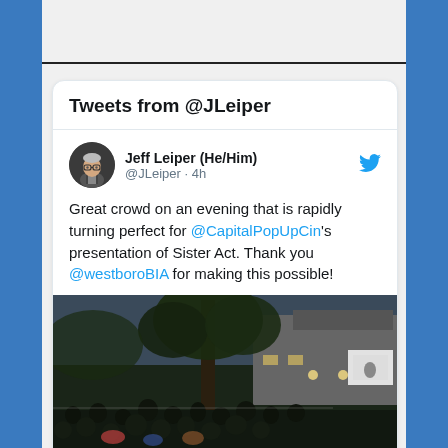Tweets from @JLeiper
Jeff Leiper (He/Him)
@JLeiper · 4h
Great crowd on an evening that is rapidly turning perfect for @CapitalPopUpCin's presentation of Sister Act. Thank you @westboroBIA for making this possible!
[Figure (photo): Outdoor evening crowd seated on ground watching a movie screen, large tree in center, building in background with lights]